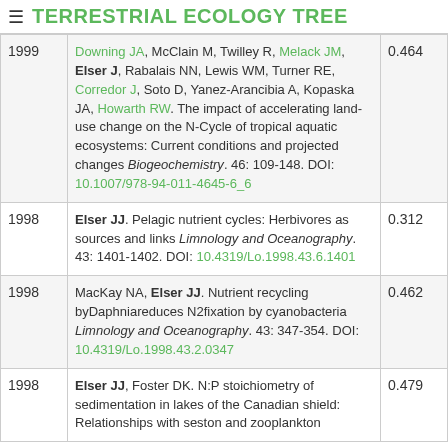TERRESTRIAL ECOLOGY TREE
| Year | Reference | Score |
| --- | --- | --- |
| 1999 | Downing JA, McClain M, Twilley R, Melack JM, Elser J, Rabalais NN, Lewis WM, Turner RE, Corredor J, Soto D, Yanez-Arancibia A, Kopaska JA, Howarth RW. The impact of accelerating land-use change on the N-Cycle of tropical aquatic ecosystems: Current conditions and projected changes Biogeochemistry. 46: 109-148. DOI: 10.1007/978-94-011-4645-6_6 | 0.464 |
| 1998 | Elser JJ. Pelagic nutrient cycles: Herbivores as sources and links Limnology and Oceanography. 43: 1401-1402. DOI: 10.4319/Lo.1998.43.6.1401 | 0.312 |
| 1998 | MacKay NA, Elser JJ. Nutrient recycling byDaphniareduces N2fixation by cyanobacteria Limnology and Oceanography. 43: 347-354. DOI: 10.4319/Lo.1998.43.2.0347 | 0.462 |
| 1998 | Elser JJ, Foster DK. N:P stoichiometry of sedimentation in lakes of the Canadian shield: Relationships with seston and zooplankton | 0.479 |